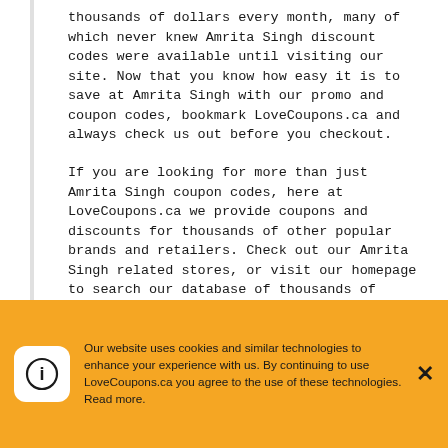thousands of dollars every month, many of which never knew Amrita Singh discount codes were available until visiting our site. Now that you know how easy it is to save at Amrita Singh with our promo and coupon codes, bookmark LoveCoupons.ca and always check us out before you checkout.
If you are looking for more than just Amrita Singh coupon codes, here at LoveCoupons.ca we provide coupons and discounts for thousands of other popular brands and retailers. Check out our Amrita Singh related stores, or visit our homepage to search our database of thousands of coupon codes.
Our website uses cookies and similar technologies to enhance your experience with us. By continuing to use LoveCoupons.ca you agree to the use of these technologies. Read more.